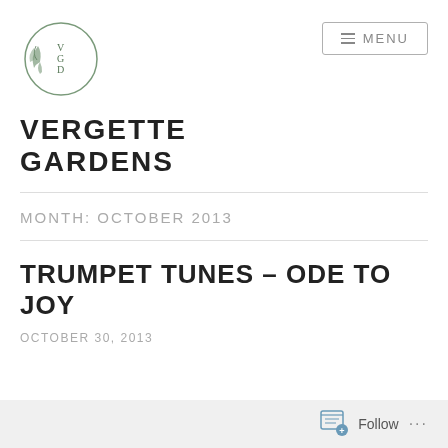[Figure (logo): Vergette Gardens circular logo with leaf decoration and letters V, G, D]
VERGETTE GARDENS
MONTH: OCTOBER 2013
TRUMPET TUNES – ODE TO JOY
OCTOBER 30, 2013
Follow ...